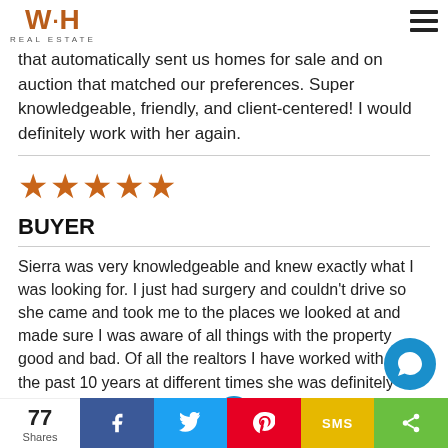W·H REAL ESTATE
that automatically sent us homes for sale and on auction that matched our preferences. Super knowledgeable, friendly, and client-centered! I would definitely work with her again.
[Figure (other): Five orange/brown star rating icons]
BUYER
Sierra was very knowledgeable and knew exactly what I was looking for. I just had surgery and couldn't drive so she came and took me to the places we looked at and made sure I was aware of all things with the property good and bad. Of all the realtors I have worked with for the past 10 years at different times she was definitely the most friendly and helpful th... soon. If you had a 10-star rating that still wouldn't be e...